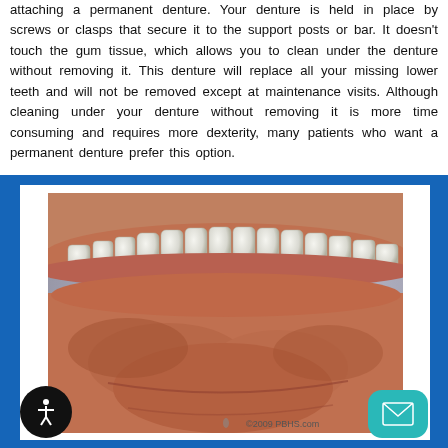attaching a permanent denture. Your denture is held in place by screws or clasps that secure it to the support posts or bar. It doesn't touch the gum tissue, which allows you to clean under the denture without removing it. This denture will replace all your missing lower teeth and will not be removed except at maintenance visits. Although cleaning under your denture without removing it is more time consuming and requires more dexterity, many patients who want a permanent denture prefer this option.
[Figure (illustration): 3D medical illustration of dental implants showing lower jaw with implant-supported denture, close-up view of teeth and gum tissue. Watermark: ©2009 PBHS.com]